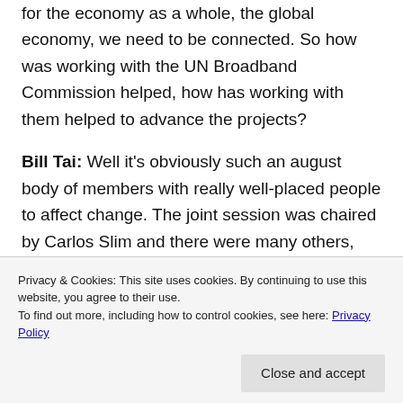for the economy as a whole, the global economy, we need to be connected. So how was working with the UN Broadband Commission helped, how has working with them helped to advance the projects?
Bill Tai: Well it's obviously such an august body of members with really well-placed people to affect change. The joint session was chaired by Carlos Slim and there were many others, heads of major telecommunications or representatives of major
Privacy & Cookies: This site uses cookies. By continuing to use this website, you agree to their use. To find out more, including how to control cookies, see here: Privacy Policy
Close and accept
kind of a bigger, universal word around it,